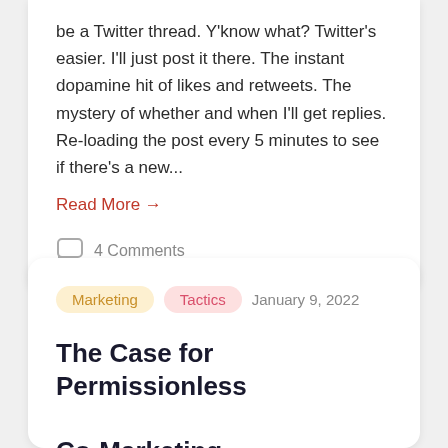be a Twitter thread. Y'know what? Twitter's easier. I'll just post it there. The instant dopamine hit of likes and retweets. The mystery of whether and when I'll get replies. Re-loading the post every 5 minutes to see if there's a new...
Read More →
4 Comments
Marketing  Tactics  January 9, 2022
The Case for Permissionless Co-Marketing